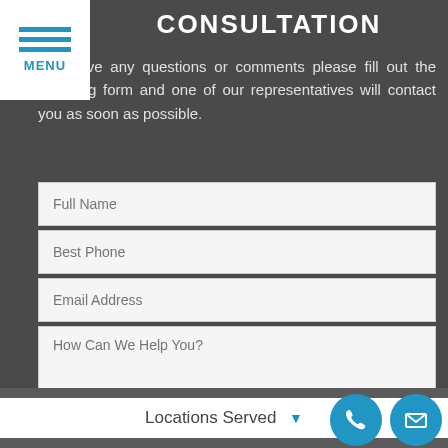CONSULTATION
you have any questions or comments please fill out the following form and one of our representatives will contact you as soon as possible.
[Figure (screenshot): Contact form with fields: Full Name, Best Phone, Email Address, How Can We Help You?, and a Submit My Request button]
Locations Served ▼
[Figure (infographic): Phone and email icon buttons in circular blue shapes at bottom right]